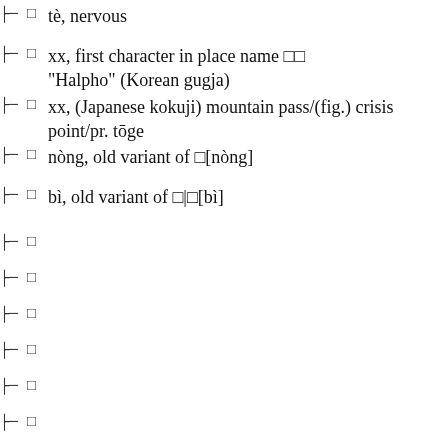□ tè, nervous
□ xx, first character in place name □□ "Halpho" (Korean gugja)
□ xx, (Japanese kokuji) mountain pass/(fig.) crisis point/pr. tōge
□ nòng, old variant of □[nòng]
□ bì, old variant of □|□[bì]
□
□
□
□
□
□
□
□
□
□